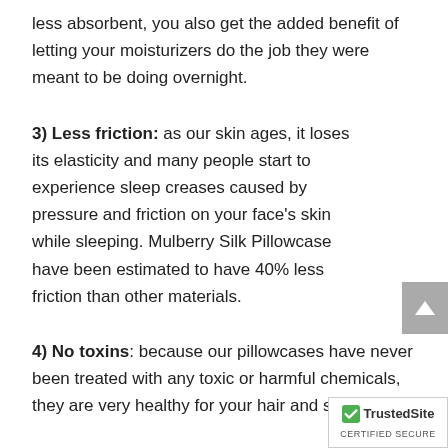less absorbent, you also get the added benefit of letting your moisturizers do the job they were meant to be doing overnight.
3) Less friction: as our skin ages, it loses its elasticity and many people start to experience sleep creases caused by pressure and friction on your face's skin while sleeping. Mulberry Silk Pillowcase have been estimated to have 40% less friction than other materials.
4) No toxins: because our pillowcases have never been treated with any toxic or harmful chemicals, they are very healthy for your hair and skin.